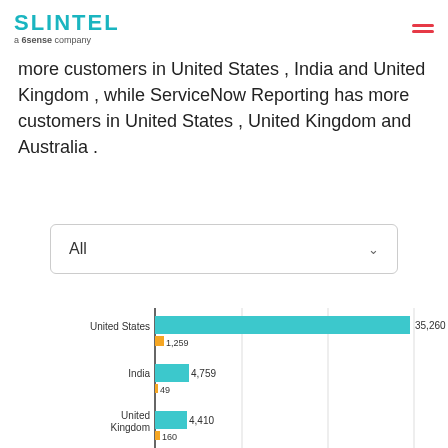SLINTEL a 6sense company
more customers in United States , India and United Kingdom , while ServiceNow Reporting has more customers in United States , United Kingdom and Australia .
[Figure (bar-chart): Customers by country]